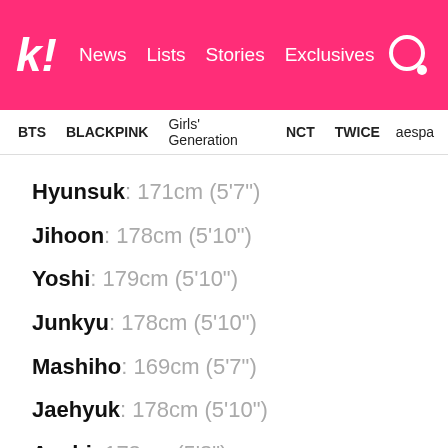k! News Lists Stories Exclusives
BTS BLACKPINK Girls' Generation NCT TWICE aespa
Hyunsuk: 171cm (5‗7″)
Jihoon: 178cm (5’10″)
Yoshi: 179cm (5’10″)
Junkyu: 178cm (5’10″)
Mashiho: 169cm (5‗7″)
Jaehyuk: 178cm (5’10″)
Asahi: 173cm (5‘8″)
Yedam: 172cm (5‘8″)